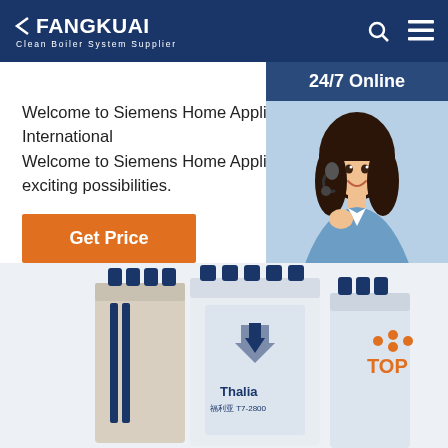FANGKUAI - Clean Boiler System Supplier
Welcome to Siemens Home Appliances International Welcome to Siemens Home Appliances – For a w... exciting possibilities.
Get Price
[Figure (other): 24/7 Online customer service agent panel with photo, 'Click here for free chat!' text and QUOTATION button]
[Figure (photo): Fangkuai boiler product image showing Thalia T7-2800 unit and other boiler units]